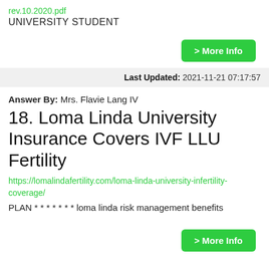rev.10.2020.pdf
UNIVERSITY STUDENT
> More Info
Last Updated: 2021-11-21 07:17:57
Answer By: Mrs. Flavie Lang IV
18. Loma Linda University Insurance Covers IVF LLU Fertility
https://lomalindafertility.com/loma-linda-university-infertility-coverage/
PLAN * * * * * * * loma linda risk management benefits
> More Info